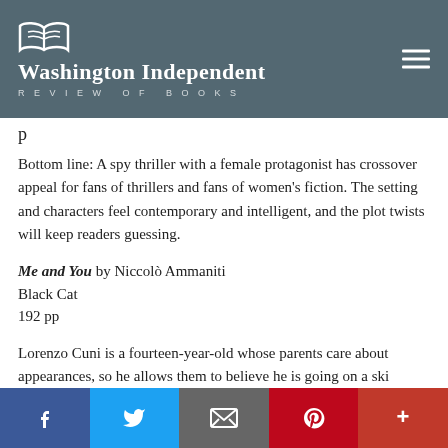Washington Independent Review of Books
Bottom line: A spy thriller with a female protagonist has crossover appeal for fans of thrillers and fans of women's fiction. The setting and characters feel contemporary and intelligent, and the plot twists will keep readers guessing.
Me and You by Niccolò Ammaniti
Black Cat
192 pp
Lorenzo Cuni is a fourteen-year-old whose parents care about appearances, so he allows them to believe he is going on a ski vacation with the popular kids. After insisting on being dropped off around the corner from their meeting spot, he sneaks back home and into his apartment's supply-stocked cellar, where he plans to spend a week perpetrating his deception. Avoiding the doorman is easy, but soon his
Facebook Twitter Email Pinterest +